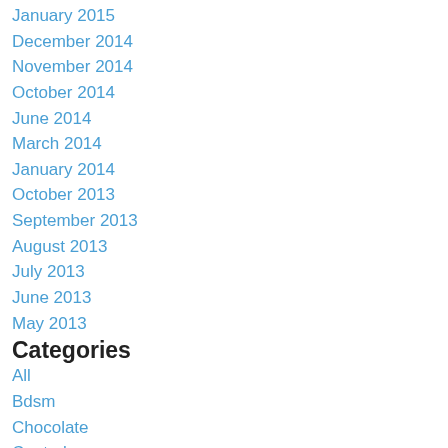January 2015
December 2014
November 2014
October 2014
June 2014
March 2014
January 2014
October 2013
September 2013
August 2013
July 2013
June 2013
May 2013
Categories
All
Bdsm
Chocolate
Control
Crop
Dessert...seconds Please